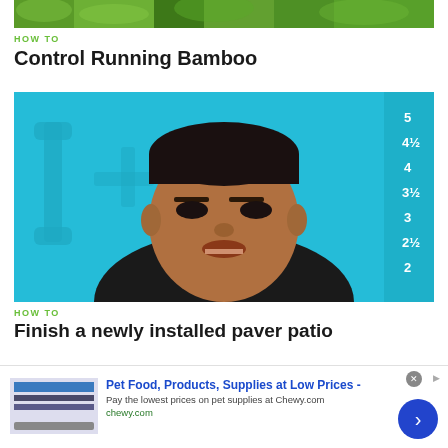[Figure (photo): Top strip showing green bamboo/trees image]
HOW TO
Control Running Bamboo
[Figure (screenshot): Video thumbnail showing a man speaking on a teal/blue background with a ruler graphic on the right side]
HOW TO
Finish a newly installed paver patio
[Figure (other): Advertisement for Chewy.com pet supplies with blue arrow CTA button]